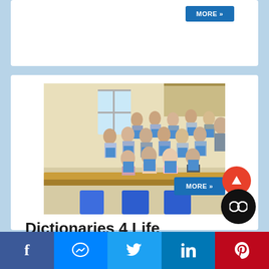[Figure (other): Blue button with text MORE >> in top card]
[Figure (photo): Group of school children holding blue books/dictionaries in a classroom, seated and standing around a table]
Dictionaries 4 Life
[Figure (other): Blue MORE >> button, red scroll-up arrow button, and black toggle button]
[Figure (other): Social media footer bar with Facebook, Messenger, Twitter, LinkedIn, and Pinterest icons]